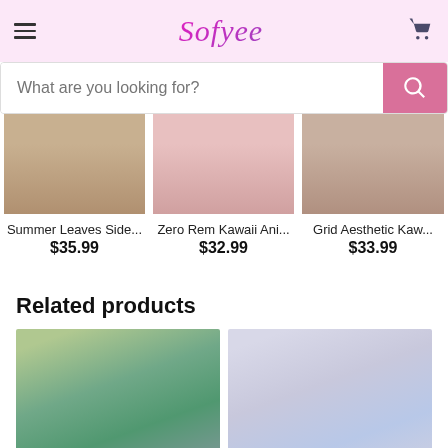Sofyee
What are you looking for?
[Figure (photo): Product image for Summer Leaves Side... showing partial view of clothing/costume]
Summer Leaves Side...
$35.99
[Figure (photo): Product image for Zero Rem Kawaii Ani... showing partial view of anime costume]
Zero Rem Kawaii Ani...
$32.99
[Figure (photo): Product image for Grid Aesthetic Kaw... showing partial view of grid aesthetic kawaii costume]
Grid Aesthetic Kaw...
$33.99
Related products
[Figure (photo): Related product image showing anime character with green hair and frog accessories]
[Figure (photo): Related product image showing person with blue bow headband in cosplay outfit]